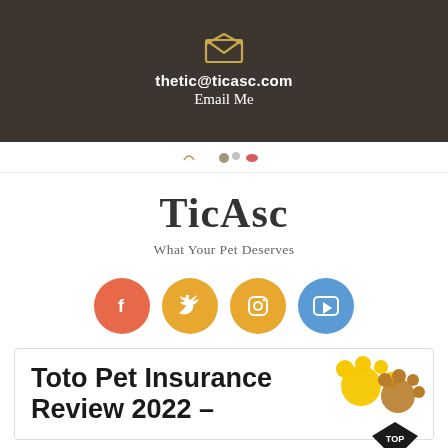thetic@ticasc.com
Email Me
[Figure (screenshot): Navigation bar with small pet-related icons]
TicAsc
What Your Pet Deserves
[Figure (infographic): Four social media icon circles: Facebook (orange-red), Twitter (orange-yellow), Instagram (orange-yellow), YouTube (blue)]
[Figure (illustration): Paw print badge with 'TOP' diamond label in bottom right corner]
Toto Pet Insurance Review 2022 –